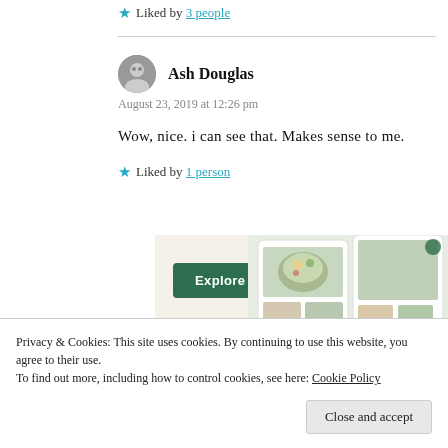★ Liked by 3 people
Ash Douglas
August 23, 2019 at 12:26 pm
Wow, nice. i can see that. Makes sense to me.
★ Liked by 1 person
[Figure (screenshot): Advertisement banner with 'Explore options' green button and food/recipe app interface screenshots on a beige background]
Privacy & Cookies: This site uses cookies. By continuing to use this website, you agree to their use.
To find out more, including how to control cookies, see here: Cookie Policy
Close and accept